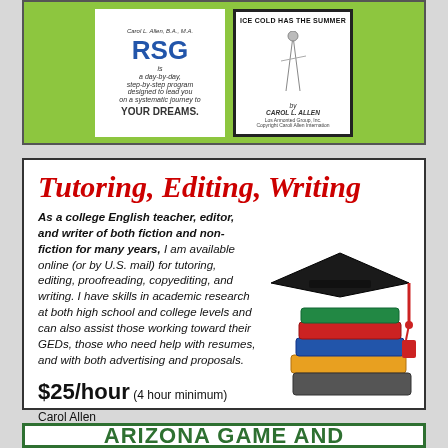[Figure (illustration): Top advertisement showing two books on a lime-green background. Left book has 'RSG' title in blue with description text 'a day-by-day, step-by-step program designed to lead you on a systematic journey to YOUR DREAMS.' Right book shows 'ICE COLD HAS THE SUMMER' title with a figure illustration and author name Carol L. Allen.]
[Figure (illustration): Tutoring, Editing, Writing advertisement with a photo of graduation cap on stacked books in the bottom right corner.]
Tutoring, Editing, Writing
As a college English teacher, editor, and writer of both fiction and non-fiction for many years, I am available online (or by U.S. mail) for tutoring, editing, proofreading, copyediting, and writing. I have skills in academic research at both high school and college levels and can also assist those working toward their GEDs, those who need help with resumes, and with both advertising and proposals.
$25/hour (4 hour minimum)
Carol Allen
(480) 947-6219 or editor@azbw.com
ARIZONA GAME AND